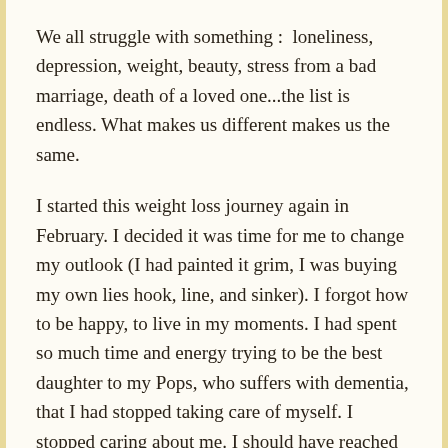We all struggle with something :  loneliness, depression, weight, beauty, stress from a bad marriage, death of a loved one...the list is endless. What makes us different makes us the same.
I started this weight loss journey again in February. I decided it was time for me to change my outlook (I had painted it grim, I was buying my own lies hook, line, and sinker). I forgot how to be happy, to live in my moments. I had spent so much time and energy trying to be the best daughter to my Pops, who suffers with dementia, that I had stopped taking care of myself. I stopped caring about me. I should have reached out for help. Maybe, I wouldn't have gotten so lost if I had just stopped and asked for direction.
I then...